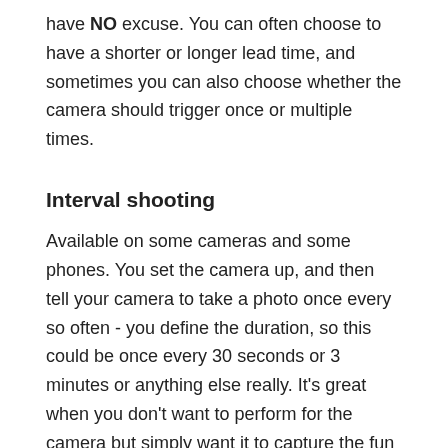have NO excuse. You can often choose to have a shorter or longer lead time, and sometimes you can also choose whether the camera should trigger once or multiple times.
Interval shooting
Available on some cameras and some phones. You set the camera up, and then tell your camera to take a photo once every so often - you define the duration, so this could be once every 30 seconds or 3 minutes or anything else really. It's great when you don't want to perform for the camera but simply want it to capture the fun as it's going on. It will inevitably involve lots and lots of pretty bad photos due to people wandering off the frame, focus missed, etc, but usually it'll have a couple of gems as well.
Remote trigger
Some years ago I spent £5 on eBay and bought myself a super